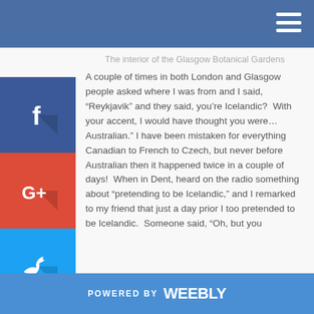[Figure (other): Facebook social share button icon]
[Figure (other): Google+ social share button icon]
[Figure (other): Twitter social share button icon]
[Figure (other): Pinterest social share button icon]
[Figure (other): Tumblr social share button icon]
[Figure (other): Reddit social share button icon]
The interior of the Glasgow Botanical Gardens
A couple of times in both London and Glasgow people asked where I was from and I said, “Reykjavik” and they said, you’re Icelandic? With your accent, I would have thought you were…Australian.” I have been mistaken for everything Canadian to French to Czech, but never before Australian then it happened twice in a couple of days! When in Dent, heard on the radio something about “pretending to be Icelandic,” and I remarked to my friend that just a day prior I too pretended to be Icelandic. Someone said, “Oh, but you
POWERED BY weebly